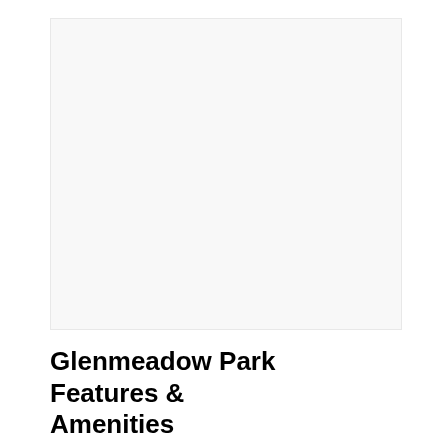[Figure (photo): A nearly blank or very light image area representing a photo of Glenmeadow Park, mostly white/off-white with faint indistinct outlines.]
Glenmeadow Park Features & Amenities